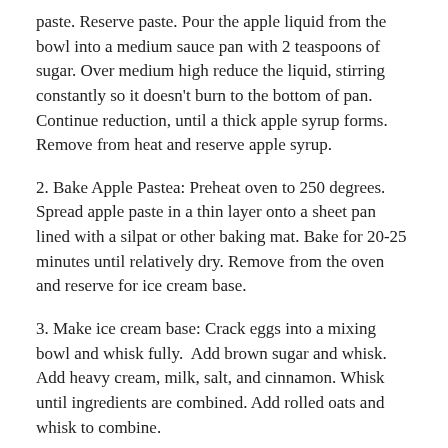paste. Reserve paste. Pour the apple liquid from the bowl into a medium sauce pan with 2 teaspoons of sugar. Over medium high reduce the liquid, stirring constantly so it doesn't burn to the bottom of pan. Continue reduction, until a thick apple syrup forms. Remove from heat and reserve apple syrup.
2. Bake Apple Pastea: Preheat oven to 250 degrees. Spread apple paste in a thin layer onto a sheet pan lined with a silpat or other baking mat. Bake for 20-25 minutes until relatively dry. Remove from the oven and reserve for ice cream base.
3. Make ice cream base: Crack eggs into a mixing bowl and whisk fully.  Add brown sugar and whisk.  Add heavy cream, milk, salt, and cinnamon. Whisk until ingredients are combined. Add rolled oats and whisk to combine.